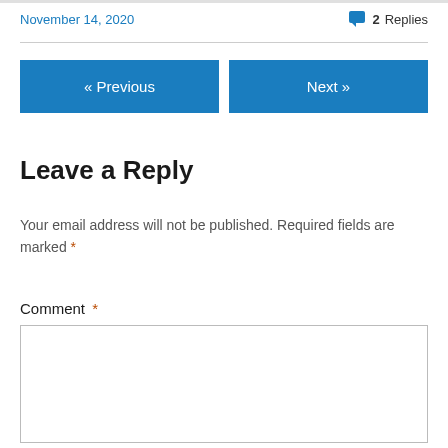November 14, 2020
💬 2 Replies
« Previous
Next »
Leave a Reply
Your email address will not be published. Required fields are marked *
Comment *